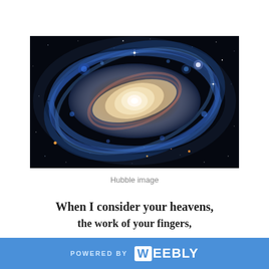[Figure (photo): Hubble Space Telescope image of a barred spiral galaxy against a black starfield background. The galaxy features a bright elliptical core with spiral arms and blue star-forming regions.]
Hubble image
When I consider your heavens,
the work of your fingers,
POWERED BY weebly